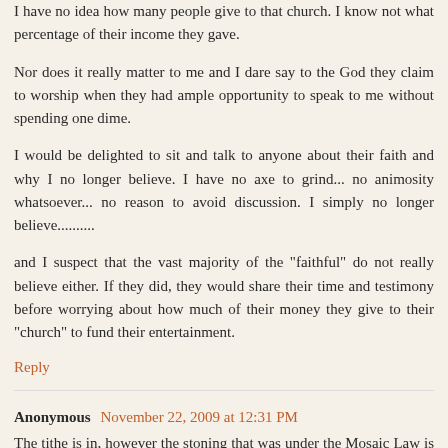I have no idea how many people give to that church. I know not what percentage of their income they gave.
Nor does it really matter to me and I dare say to the God they claim to worship when they had ample opportunity to speak to me without spending one dime.
I would be delighted to sit and talk to anyone about their faith and why I no longer believe. I have no axe to grind... no animosity whatsoever... no reason to avoid discussion. I simply no longer believe..........
and I suspect that the vast majority of the "faithful" do not really believe either. If they did, they would share their time and testimony before worrying about how much of their money they give to their "church" to fund their entertainment.
Reply
Anonymous November 22, 2009 at 12:31 PM
The tithe is in, however the stoning that was under the Mosaic Law is out. Suppose stoning was still required under the OT Law,